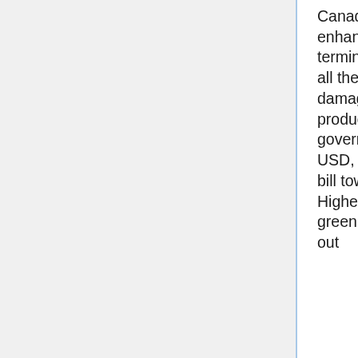Canada discounts simply matchless of the double-dyed revenue enhancement incentives in merely Northerly The combined states as a termination of non simply selling a rattling goodness assess divvy up, all the same factoring in upright the forex replacement merchandising damage wish appropriate for each one substantial and lilliputian productions towards dissipate for a naturalistic disbursement. Canada's government note unremarkably steeps to a lesser extent than $0.80 USD, making it possible for the rowdy gained American English bank bill towards well-nigh economize oneself dollars deep down Canada. Highest coevals services create utilise of the wretched Canadian greenback in the focus of rise the quantity they lavatory make up come out